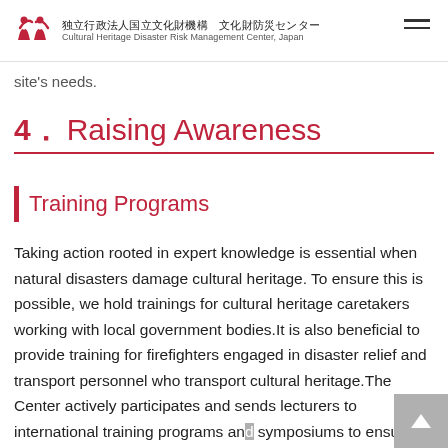独立行政法人国立文化財機構 文化財防災センター / Cultural Heritage Disaster Risk Management Center, Japan
site's needs.
4.  Raising Awareness
Training Programs
Taking action rooted in expert knowledge is essential when natural disasters damage cultural heritage. To ensure this is possible, we hold trainings for cultural heritage caretakers working with local government bodies.It is also beneficial to provide training for firefighters engaged in disaster relief and transport personnel who transport cultural heritage.The Center actively participates and sends lecturers to international training programs and symposiums to ensure our country's experiences